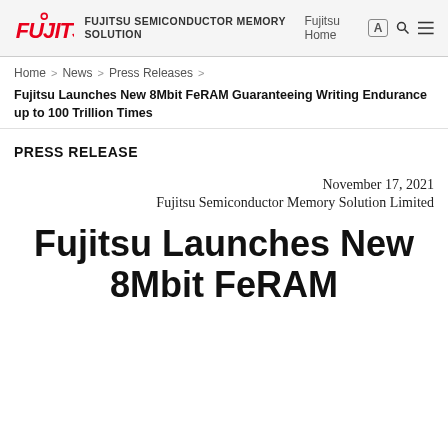FUJITSU FUJITSU SEMICONDUCTOR MEMORY SOLUTION
Home > News > Press Releases >
Fujitsu Launches New 8Mbit FeRAM Guaranteeing Writing Endurance up to 100 Trillion Times
PRESS RELEASE
November 17, 2021
Fujitsu Semiconductor Memory Solution Limited
Fujitsu Launches New 8Mbit FeRAM